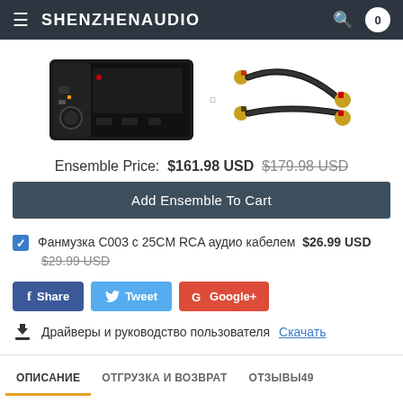SHENZHENAUDIO
[Figure (photo): Two product photos: a black desktop headphone amplifier/DAC unit on the left, and a black RCA audio cable with red connectors on the right]
Ensemble Price:  $161.98 USD  $179.98 USD
Add Ensemble To Cart
Фанмузка С003 с 25CM RCA аудио кабелем  $26.99 USD  $29.99 USD
Share  Tweet  Google+
Драйверы и руководство пользователя Скачать
ОПИСАНИЕ  ОТГРУЗКА И ВОЗВРАТ  ОТЗЫВЫ49